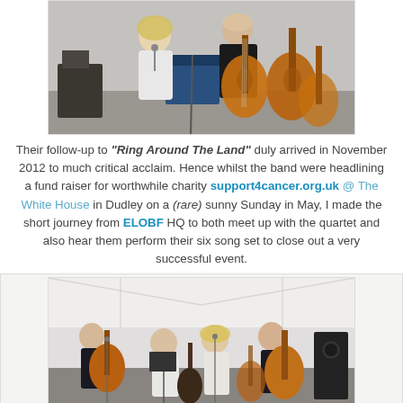[Figure (photo): Two musicians performing indoors — a woman singing at a microphone in a white jacket, and a man playing acoustic guitar in a black t-shirt, with additional guitars visible in the background.]
Their follow-up to "Ring Around The Land" duly arrived in November 2012 to much critical acclaim. Hence whilst the band were headlining a fund raiser for worthwhile charity support4cancer.org.uk @ The White House in Dudley on a (rare) sunny Sunday in May, I made the short journey from ELOBF HQ to both meet up with the quartet and also hear them perform their six song set to close out a very successful event.
[Figure (photo): A band of four musicians performing on a stage inside a white tent/marquee — two guitarists on the left, one person in white in the center, and another guitarist on the right.]